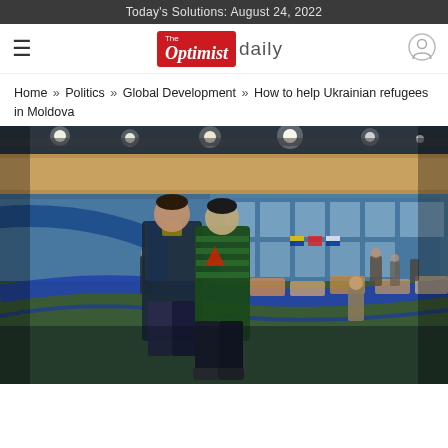Today's Solutions: August 24, 2022
[Figure (logo): The Optimist Daily logo - red box with 'The Optimist' text and 'daily' in gray next to it]
Home » Politics » Global Development » How to help Ukrainian refugees in Moldova
[Figure (photo): Indoor sports hall / gymnasium converted into a refugee shelter. Two children stand in the foreground on a blue running track. In the background, cots and beds are set up across the gym floor with people sitting and standing around them. The gym has large windows and flags.]